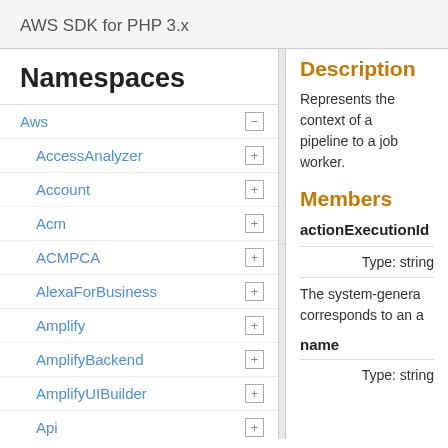AWS SDK for PHP 3.x
Namespaces
Aws
AccessAnalyzer
Account
Acm
ACMPCA
AlexaForBusiness
Amplify
AmplifyBackend
AmplifyUIBuilder
Api
ApiGateway
ApiGatewayManagementApi
Description
Represents the context of a pipeline to a job worker.
Members
actionExecutionId
Type: string
The system-genera corresponds to an a
name
Type: string